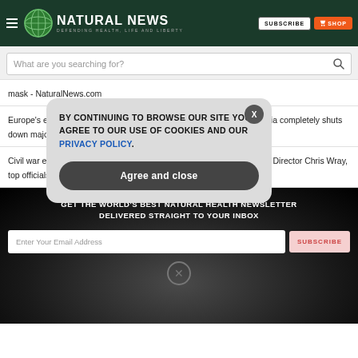Natural News — DEFENDING HEALTH, LIFE AND LIBERTY
What are you searching for?
mask - NaturalNews.com
Europe's energy shortage about to hit full-blown crisis mode after Russia completely shuts down major pipeline - NaturalNews.com
Civil war erupts inside FBI as nearly two dozen agents demand corrupt Director Chris Wray, top officials resign - NaturalNews.com
GET THE WORLD'S BEST NATURAL HEALTH NEWSLETTER DELIVERED STRAIGHT TO YOUR INBOX
BY CONTINUING TO BROWSE OUR SITE YOU AGREE TO OUR USE OF COOKIES AND OUR PRIVACY POLICY.
Agree and close